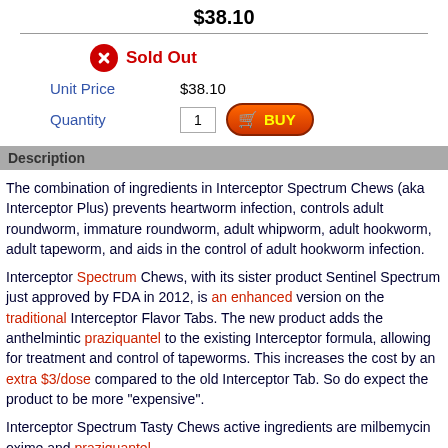$38.10
Sold Out
Unit Price  $38.10
Quantity  1  BUY
Description
The combination of ingredients in Interceptor Spectrum Chews (aka Interceptor Plus) prevents heartworm infection, controls adult roundworm, immature roundworm, adult whipworm, adult hookworm, adult tapeworm, and aids in the control of adult hookworm infection.
Interceptor Spectrum Chews, with its sister product Sentinel Spectrum just approved by FDA in 2012, is an enhanced version on the traditional Interceptor Flavor Tabs. The new product adds the anthelmintic praziquantel to the existing Interceptor formula, allowing for treatment and control of tapeworms. This increases the cost by an extra $3/dose compared to the old Interceptor Tab. So do expect the product to be more "expensive".
Interceptor Spectrum Tasty Chews active ingredients are milbemycin oxime and praziquantel.
Milbemycin oxime interferes with nerve transmission in invertebrates, which helps protect against heartworm, roundworm, hookworm and whipworm (minimum dose